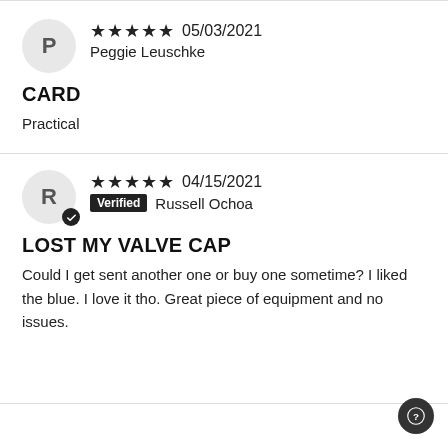★★★★★ 05/03/2021 Peggie Leuschke
CARD
Practical
★★★★★ 04/15/2021 Verified Russell Ochoa
LOST MY VALVE CAP
Could I get sent another one or buy one sometime? I liked the blue. I love it tho. Great piece of equipment and no issues.